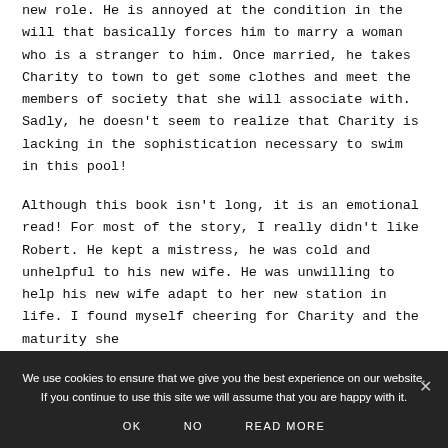new role. He is annoyed at the condition in the will that basically forces him to marry a woman who is a stranger to him. Once married, he takes Charity to town to get some clothes and meet the members of society that she will associate with. Sadly, he doesn't seem to realize that Charity is lacking in the sophistication necessary to swim in this pool!
Although this book isn't long, it is an emotional read! For most of the story, I really didn't like Robert. He kept a mistress, he was cold and unhelpful to his new wife. He was unwilling to help his new wife adapt to her new station in life. I found myself cheering for Charity and the maturity she
We use cookies to ensure that we give you the best experience on our website. If you continue to use this site we will assume that you are happy with it.
OK   NO   READ MORE